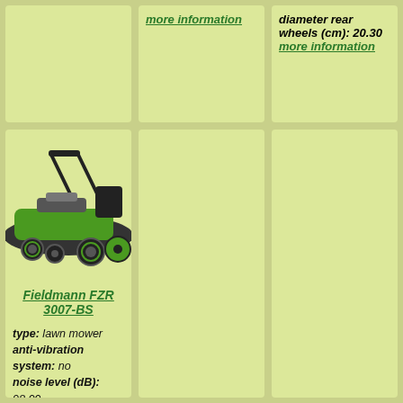more information
diameter rear wheels (cm): 20.30
more information
[Figure (photo): Fieldmann FZR 3007-BS lawn mower product photo]
Fieldmann FZR 3007-BS
type: lawn mower
anti-vibration system: no
noise level (dB): 98.00
emissions grass: bagging, sideways, ago
type of grass catcher: soft
displacement (cc): 140.00
fuel tank capacity (L): 1.60